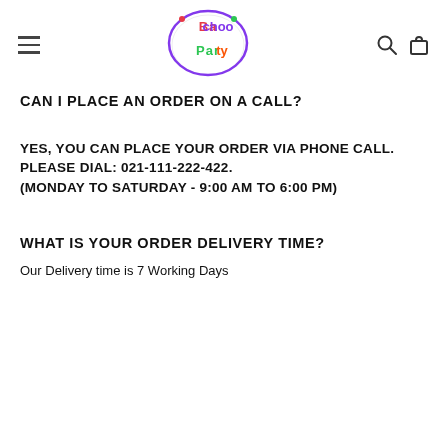Bachoo Party logo with hamburger menu, search and cart icons
CAN I PLACE AN ORDER ON A CALL?
YES, YOU CAN PLACE YOUR ORDER VIA PHONE CALL. PLEASE DIAL: 021-111-222-422. (MONDAY TO SATURDAY - 9:00 AM TO 6:00 PM)
WHAT IS YOUR ORDER DELIVERY TIME?
Our Delivery time is 7 Working Days